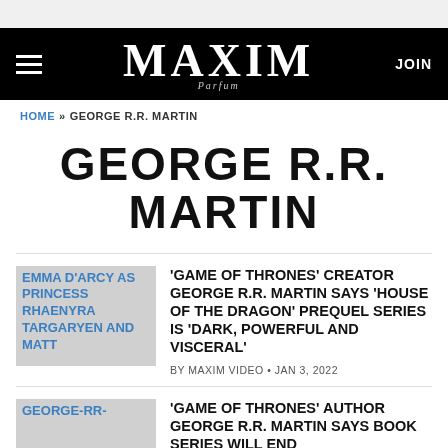MAXIM
HOME » GEORGE R.R. MARTIN
GEORGE R.R. MARTIN
[Figure (photo): Thumbnail image: Emma D'Arcy as Princess Rhaenyra Targaryen and Matt (placeholder image with alt text)]
'GAME OF THRONES' CREATOR GEORGE R.R. MARTIN SAYS 'HOUSE OF THE DRAGON' PREQUEL SERIES IS 'DARK, POWERFUL AND VISCERAL'
BY MAXIM VIDEO • JAN 3, 2022
[Figure (photo): Thumbnail image: GEORGE-RR- (placeholder image with alt text)]
'GAME OF THRONES' AUTHOR GEORGE R.R. MARTIN SAYS BOOK SERIES WILL END